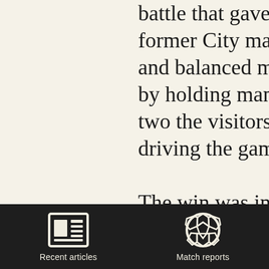battle that gave the wi... former City man Steve... and balanced middle t... by holding man Lee Bu... two the visitors were r... driving the game into...
The win was in David... hour on the clock and... or should that be wors... over the bar from one... was his reaction to tha...
Recent articles   Match reports